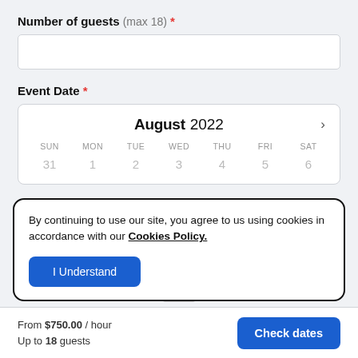Number of guests (max 18) *
Event Date *
[Figure (screenshot): Calendar widget showing August 2022 with days of week SUN MON TUE WED THU FRI SAT and first row of dates: 31, 1, 2, 3, 4, 5, 6]
By continuing to use our site, you agree to us using cookies in accordance with our Cookies Policy.
I Understand
From $750.00 / hour Up to 18 guests
Check dates